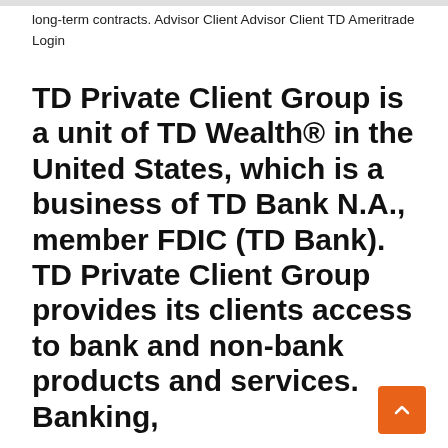long-term contracts. Advisor Client Advisor Client TD Ameritrade Login
TD Private Client Group is a unit of TD Wealth® in the United States, which is a business of TD Bank N.A., member FDIC (TD Bank). TD Private Client Group provides its clients access to bank and non-bank products and services. Banking,